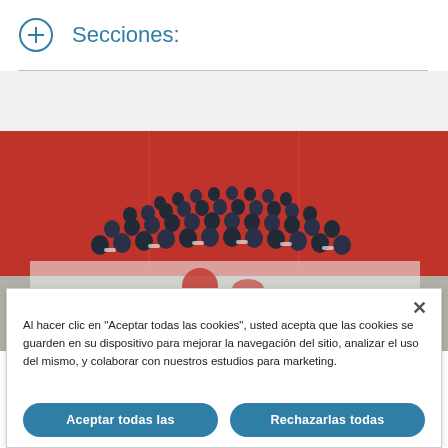Secciones:
[Figure (photo): Aerial view of a large group of students in school uniforms (dark blue and white) gathered on a red mat/floor, viewed from above.]
Al hacer clic en "Aceptar todas las cookies", usted acepta que las cookies se guarden en su dispositivo para mejorar la navegación del sitio, analizar el uso del mismo, y colaborar con nuestros estudios para marketing.
Aceptar todas las
Rechazarlas todas